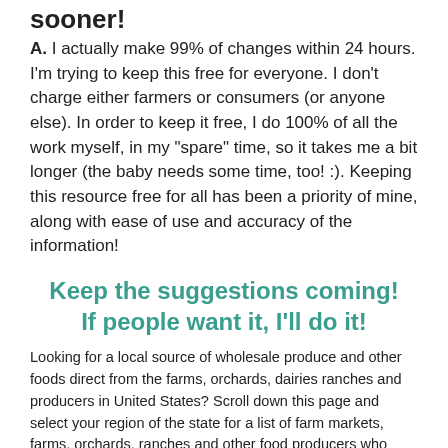sooner!
A. I actually make 99% of changes within 24 hours. I'm trying to keep this free for everyone. I don't charge either farmers or consumers (or anyone else). In order to keep it free, I do 100% of all the work myself, in my "spare" time, so it takes me a bit longer (the baby needs some time, too! :).  Keeping this resource free for all has been a priority of mine, along with ease of use and accuracy of the information!
Keep the suggestions coming!  If people want it, I'll do it!
Looking for a local source of wholesale produce and other foods direct from the farms, orchards, dairies ranches and producers in United States?  Scroll down this page and select your region of the state for a list of farm markets, farms, orchards, ranches and other food producers who offer wholesale and bulk quantities in United States...